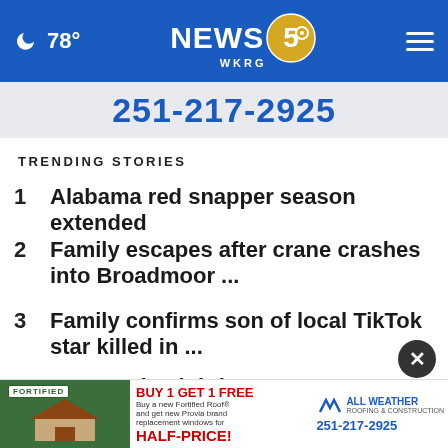78° NEWS 5 WKRG
[Figure (screenshot): Ad banner showing phone number 251-217-2925]
TRENDING STORIES
1  Alabama red snapper season extended
2  Family escapes after crane crashes into Broadmoor ...
3  Family confirms son of local TikTok star killed in ...
4  Pensacola Lighthouse considered one of most haunted ...
5  A... s...  on
[Figure (screenshot): Bottom advertisement: Fortified roofing - Buy 1 Get 1 Free half-price replacement windows, All Weather Roofing & Construction, 251-217-2925]